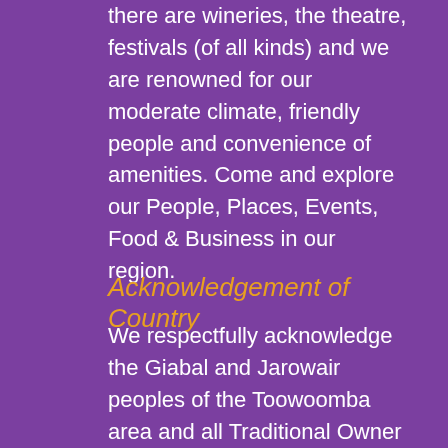there are wineries, the theatre, festivals (of all kinds) and we are renowned for our moderate climate, friendly people and convenience of amenities. Come and explore our People, Places, Events, Food & Business in our region.
Acknowledgement of Country
We respectfully acknowledge the Giabal and Jarowair peoples of the Toowoomba area and all Traditional Owner groups across what is now known as the Darling Downs. We recognise the continuing connection to Country, water and